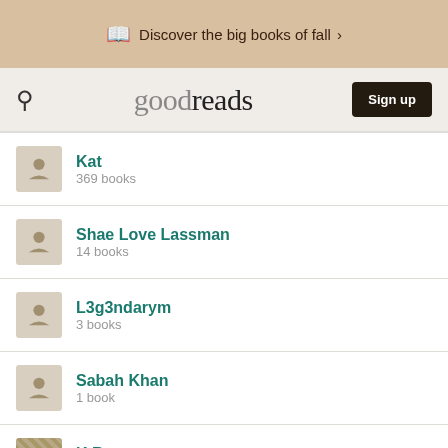Discover the big books of fall >
goodreads  Sign up
Kat
369 books
Shae Love Lassman
14 books
L3g3ndarym
3 books
Sabah Khan
1 book
K R
9 books
Carl